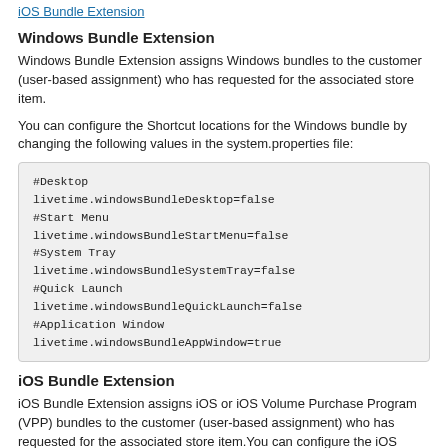iOS Bundle Extension
Windows Bundle Extension
Windows Bundle Extension assigns Windows bundles to the customer (user-based assignment) who has requested for the associated store item.
You can configure the Shortcut locations for the Windows bundle by changing the following values in the system.properties file:
#Desktop
livetime.windowsBundleDesktop=false
#Start Menu
livetime.windowsBundleStartMenu=false
#System Tray
livetime.windowsBundleSystemTray=false
#Quick Launch
livetime.windowsBundleQuickLaunch=false
#Application Window
livetime.windowsBundleAppWindow=true
iOS Bundle Extension
iOS Bundle Extension assigns iOS or iOS Volume Purchase Program (VPP) bundles to the customer (user-based assignment) who has requested for the associated store item.You can configure the iOS bundle installation schedule by changing the following values in the system.properties file:
#isJanuaryBaseSomethingFromBaseSomethingFromBase...